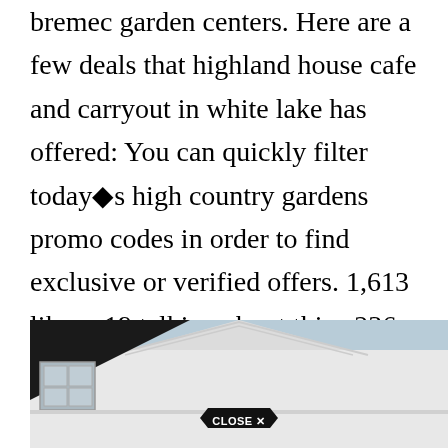bremec garden centers. Here are a few deals that highland house cafe and carryout in white lake has offered: You can quickly filter today●s high country gardens promo codes in order to find exclusive or verified offers. 1,613 likes · 19 talking about this · 236 were here. Get reviews, hours, directions, coupons and more for highland garden center at 600 e 19th st, upland, ca 91784.
[Figure (photo): Exterior photo of a white building facade with a peaked roof under a light blue sky. A black triangular shadow is visible on the upper left. A 'CLOSE X' button overlay appears at the bottom center.]